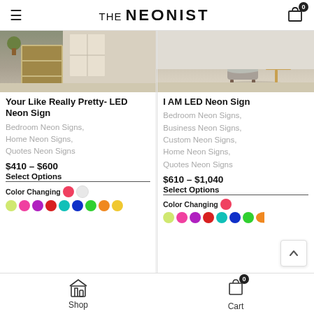THE NEONIST
[Figure (photo): Product photo of room interior with wooden shelving/cabinet unit, indoor plants]
Your Like Really Pretty- LED Neon Sign
Bedroom Neon Signs, Home Neon Signs, Quotes Neon Signs
$410 – $600
Select Options
Color Changing [color swatches]
[Figure (photo): Product photo of modern living room with chair and side table]
I AM LED Neon Sign
Bedroom Neon Signs, Business Neon Signs, Custom Neon Signs, Home Neon Signs, Quotes Neon Signs
$610 – $1,040
Select Options
Color Changing [color swatches]
Shop    Cart